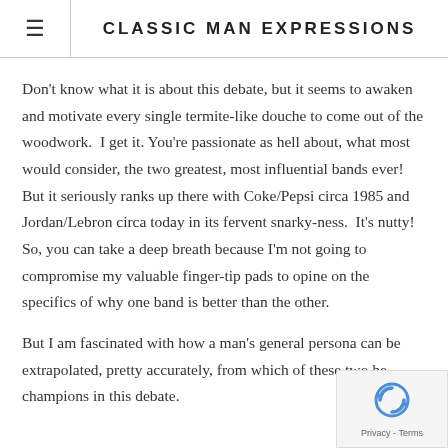CLASSIC MAN EXPRESSIONS
Don't know what it is about this debate, but it seems to awaken and motivate every single termite-like douche to come out of the woodwork.  I get it. You're passionate as hell about, what most would consider, the two greatest, most influential bands ever! But it seriously ranks up there with Coke/Pepsi circa 1985 and Jordan/Lebron circa today in its fervent snarky-ness.  It's nutty! So, you can take a deep breath because I'm not going to compromise my valuable finger-tip pads to opine on the specifics of why one band is better than the other.
But I am fascinated with how a man's general persona can be extrapolated, pretty accurately, from which of these two he champions in this debate.